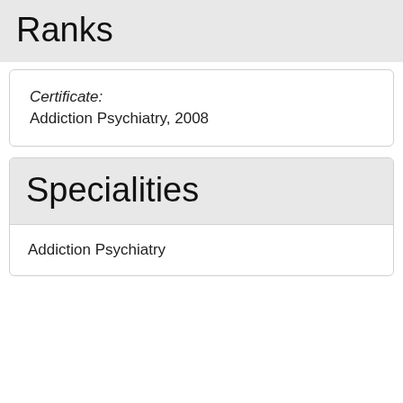Ranks
Certificate:
Addiction Psychiatry, 2008
Specialities
Addiction Psychiatry